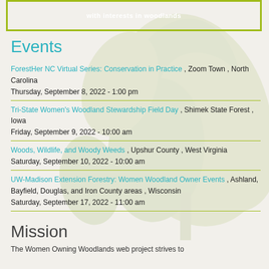with interests in woodlands
Events
ForestHer NC Virtual Series: Conservation in Practice , Zoom Town , North Carolina
Thursday, September 8, 2022 - 1:00 pm
Tri-State Women's Woodland Stewardship Field Day , Shimek State Forest , Iowa
Friday, September 9, 2022 - 10:00 am
Woods, Wildlife, and Woody Weeds , Upshur County , West Virginia
Saturday, September 10, 2022 - 10:00 am
UW-Madison Extension Forestry: Women Woodland Owner Events , Ashland, Bayfield, Douglas, and Iron County areas , Wisconsin
Saturday, September 17, 2022 - 11:00 am
Mission
The Women Owning Woodlands web project strives to